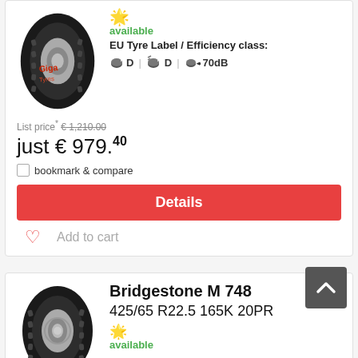[Figure (photo): Truck tire product image with 'Giga Tyres' logo overlay in red text]
available
EU Tyre Label / Efficiency class:
D   D   70dB
List price* €1,210.00
just €979.40
bookmark & compare
Details
Add to cart
[Figure (photo): Bridgestone truck tire product image]
Bridgestone M 748
425/65 R22.5 165K 20PR
available